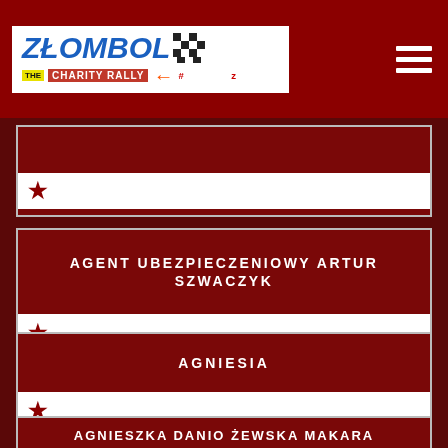[Figure (logo): Złombol charity rally logo with checkered flag pattern, blue bold italic text 'ZŁOMBOL' with checkered squares, subtitle 'THE CHARITY RALLY' with orange arrow and '#JEDZIEMY z POMOCĄ']
AGENT UBEZPIECZENIOWY ARTUR SZWACZYK
AGNIESIA
AGNIESZKA DANIO ŻEWSKA MAKARA